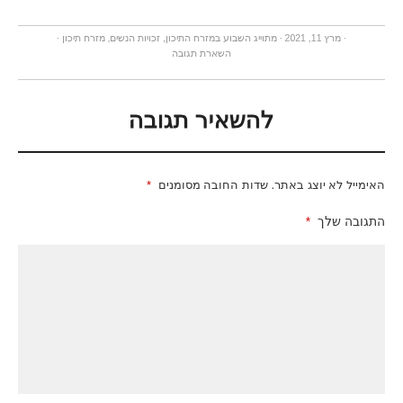· מרץ 11, 2021 · מתוייג השבוע במזרח התיכון, זכויות הנשים, מזרח תיכון · השארת תגובה
להשאיר תגובה
האימייל לא יוצג באתר. שדות החובה מסומנים *
התגובה שלך *